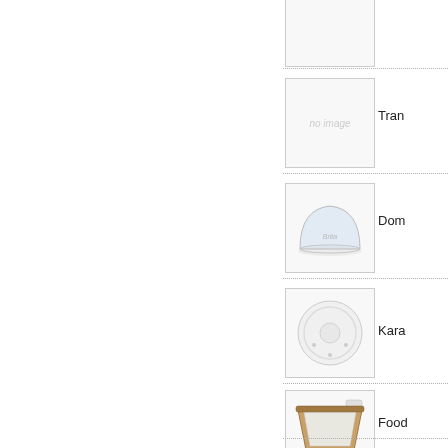[Figure (photo): Product image placeholder (blank/white square)]
[Figure (photo): Product image - no image placeholder with 'no image' text]
Tran
[Figure (photo): Dome lid product photo - clear plastic dome lid]
Dom
[Figure (photo): Karat plate/lid product photo - clear round flat lid]
Kara
[Figure (photo): Food tray product photo - brown/white paper food tray]
Food
[Figure (photo): Partial product image at bottom - another food item]